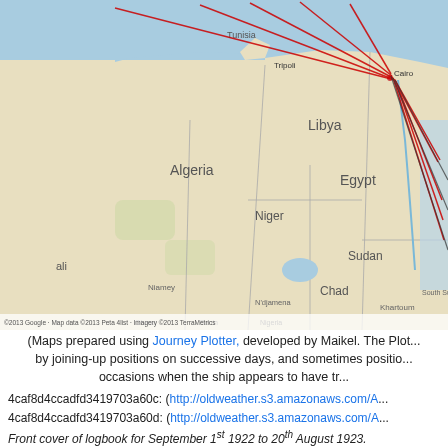[Figure (map): A Google Maps-style map showing North Africa and the Eastern Mediterranean region, including countries Algeria, Libya, Egypt, Niger, Chad, Sudan, and parts of surrounding areas. Red and black lines are drawn on the map indicating ship journey routes converging near Egypt/Alexandria area and extending southeast along the Red Sea region.]
(Maps prepared using Journey Plotter, developed by Maikel. The Plot... by joining-up positions on successive days, and sometimes positio... occasions when the ship appears to have tr...
4caf8d4ccadfd3419703a60c: (http://oldweather.s3.amazonaws.com/A... 4caf8d4ccadfd3419703a60d: (http://oldweather.s3.amazonaws.com/A... Front cover of logbook for September 1st 1922 to 20th August 1923. 4caf8d4ccadfd3419703a60e: (http://oldweather.s3.amazonaws.com/A...